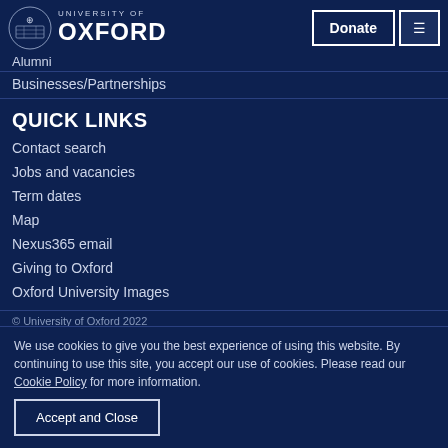[Figure (logo): University of Oxford logo with crest and text]
Alumni
Businesses/Partnerships
QUICK LINKS
Contact search
Jobs and vacancies
Term dates
Map
Nexus365 email
Giving to Oxford
Oxford University Images
© University of Oxford 2022
We use cookies to give you the best experience of using this website. By continuing to use this site, you accept our use of cookies. Please read our Cookie Policy for more information.
Accept and Close